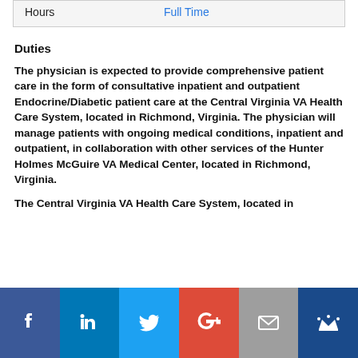| Hours | Full Time |
Duties
The physician is expected to provide comprehensive patient care in the form of consultative inpatient and outpatient Endocrine/Diabetic patient care at the Central Virginia VA Health Care System, located in Richmond, Virginia. The physician will manage patients with ongoing medical conditions, inpatient and outpatient, in collaboration with other services of the Hunter Holmes McGuire VA Medical Center, located in Richmond, Virginia.
The Central Virginia VA Health Care System, located in
[Figure (infographic): Social sharing bar with icons for Facebook, LinkedIn, Twitter, Google+, Email, and a crown/bookmark icon]